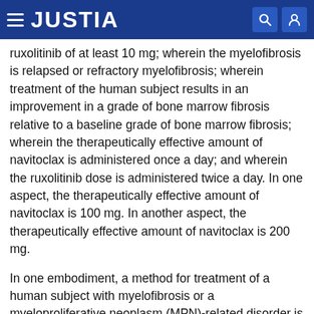JUSTIA
ruxolitinib of at least 10 mg; wherein the myelofibrosis is relapsed or refractory myelofibrosis; wherein treatment of the human subject results in an improvement in a grade of bone marrow fibrosis relative to a baseline grade of bone marrow fibrosis; wherein the therapeutically effective amount of navitoclax is administered once a day; and wherein the ruxolitinib dose is administered twice a day. In one aspect, the therapeutically effective amount of navitoclax is 100 mg. In another aspect, the therapeutically effective amount of navitoclax is 200 mg.
In one embodiment, a method for treatment of a human subject with myelofibrosis or a myeloproliferative neoplasm (MPN)-related disorder is provided, comprising administering a therapeutically effective amount of navitoclax selected from the group consisting of 50 mg, 100 mg, 200 mg, and 300 mg in combination